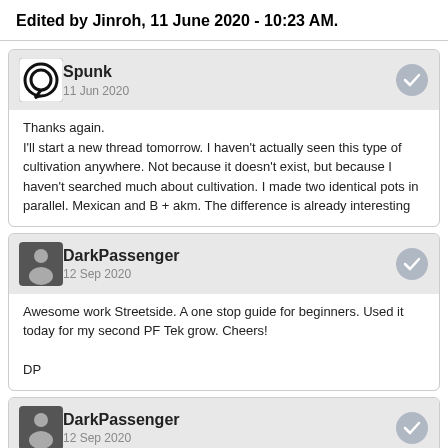Edited by Jinroh, 11 June 2020 - 10:23 AM.
Spunk
11 Jun 2020
Thanks again.
I'll start a new thread tomorrow. I haven't actually seen this type of cultivation anywhere. Not because it doesn't exist, but because I haven't searched much about cultivation. I made two identical pots in parallel. Mexican and B + akm. The difference is already interesting
DarkPassenger
12 Sep 2020
Awesome work Streetside. A one stop guide for beginners. Used it today for my second PF Tek grow. Cheers!

DP
DarkPassenger
12 Sep 2020
Meant Sidestreet!